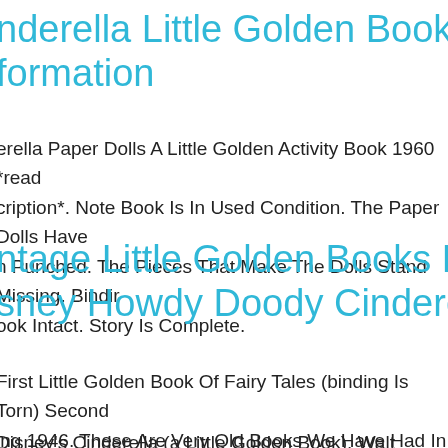nderella Little Golden Book information
erella Paper Dolls A Little Golden Activity Book 1960 *read cription*. Note Book Is In Used Condition. The Paper Dolls Have n Punched. The Pieces That Make The Dolls Stand Missing. Binding ook Intact. Story Is Complete.
ntage Little Golden Books Press Set sney Howdy Doody Cinderella Lot 6
First Little Golden Book Of Fairy Tales (binding Is Torn) Second ing 1946. These Are Very Old Books We Have Had In The Family s. When Bunny Grows Up Newer Book 1998.
Disney's Cinderella (a Little Golden Book). Walt Disney's Cindere